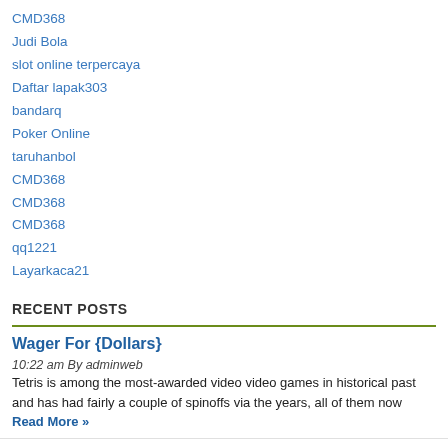CMD368
Judi Bola
slot online terpercaya
Daftar lapak303
bandarq
Poker Online
taruhanbol
CMD368
CMD368
CMD368
qq1221
Layarkaca21
RECENT POSTS
Wager For {Dollars}
10:22 am By adminweb
Tetris is among the most-awarded video video games in historical past and has had fairly a couple of spinoffs via the years, all of them now Read More »
On-line Poker: An Extraordinarily Easy Method That Works For All
12:39 am By adminweb